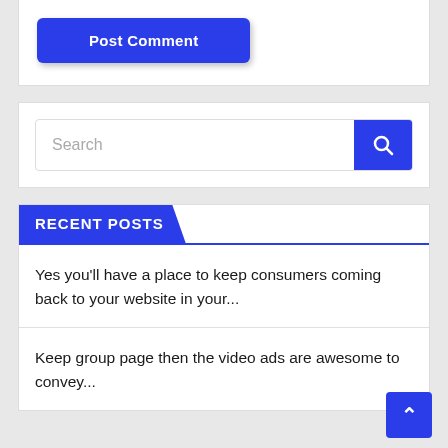[Figure (screenshot): Post Comment button — blue rounded rectangle with white bold text 'Post Comment']
[Figure (screenshot): Search bar with placeholder text 'Search' and blue search icon button on the right]
RECENT POSTS
Yes you'll have a place to keep consumers coming back to your website in your...
Keep group page then the video ads are awesome to convey...